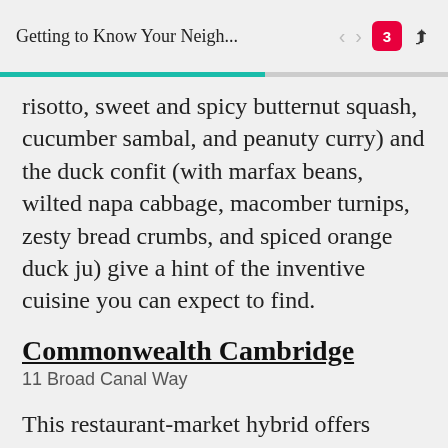Getting to Know Your Neigh...
risotto, sweet and spicy butternut squash, cucumber sambal, and peanuty curry) and the duck confit (with marfax beans, wilted napa cabbage, macomber turnips, zesty bread crumbs, and spiced orange duck ju) give a hint of the inventive cuisine you can expect to find.
Commonwealth Cambridge
11 Broad Canal Way
This restaurant-market hybrid offers hearty comfort food and ever-changing daily meal selections made with local produce, New England cheeses, and farm-fresh eggs and dairy.